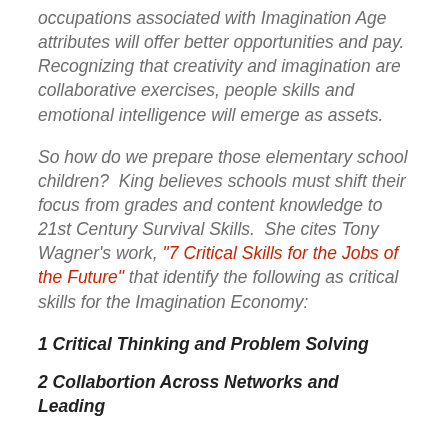occupations associated with Imagination Age attributes will offer better opportunities and pay.  Recognizing that creativity and imagination are collaborative exercises, people skills and emotional intelligence will emerge as assets.
So how do we prepare those elementary school children?  King believes schools must shift their focus from grades and content knowledge to 21st Century Survival Skills.  She cites Tony Wagner's work, “7 Critical Skills for the Jobs of the Future” that identify the following as critical skills for the Imagination Economy:
1 Critical Thinking and Problem Solving
2 Collabortion Across Networks and Leading